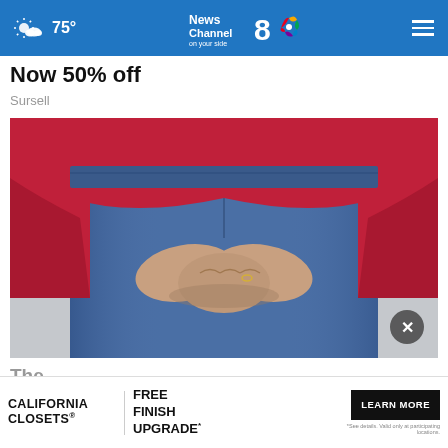75° News Channel 8 on your side
Now 50% off
Sursell
[Figure (photo): Person wearing red top and blue jeans, hands clasped behind back]
The
Colon
[Figure (infographic): California Closets advertisement: FREE FINISH UPGRADE* — LEARN MORE. *See details. Valid only at participating locations.]